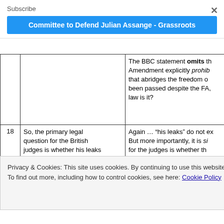Subscribe
Committee to Defend Julian Assange - Grassroots
|  |  |  |
| --- | --- | --- |
|  |  | The BBC statement omits the fact that the First Amendment explicitly prohibits any law that abridges the freedom of... been passed despite the FA, ... law is it? |
| 18 | So, the primary legal question for the British judges is whether his leaks crossed a line into hacking and disclosed secrets, and closer to being put on the | Again ... "his leaks" do not ex... But more importantly, it is si... for the judges is whether th... suicide if extradited should b... he would commit suicide... |
Privacy & Cookies: This site uses cookies. By continuing to use this website, you agree to their use.
To find out more, including how to control cookies, see here: Cookie Policy
Close and accept